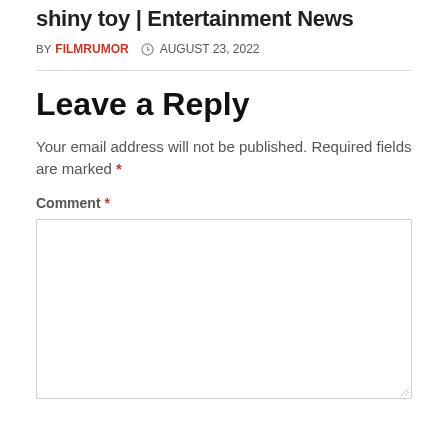shiny toy | Entertainment News
BY FILMRUMOR  AUGUST 23, 2022
Leave a Reply
Your email address will not be published. Required fields are marked *
Comment *